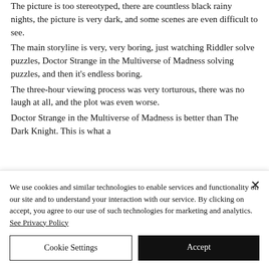The picture is too stereotyped, there are countless black rainy nights, the picture is very dark, and some scenes are even difficult to see.
The main storyline is very, very boring, just watching Riddler solve puzzles, Doctor Strange in the Multiverse of Madness solving puzzles, and then it's endless boring.
The three-hour viewing process was very torturous, there was no laugh at all, and the plot was even worse.
Doctor Strange in the Multiverse of Madness is better than The Dark Knight. This is what a
We use cookies and similar technologies to enable services and functionality on our site and to understand your interaction with our service. By clicking on accept, you agree to our use of such technologies for marketing and analytics. See Privacy Policy